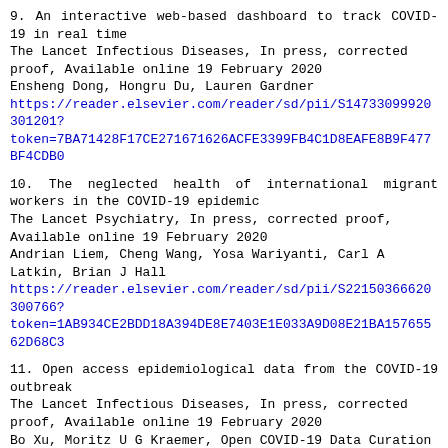9. An interactive web-based dashboard to track COVID-19 in real time
The Lancet Infectious Diseases, In press, corrected proof, Available online 19 February 2020
Ensheng Dong, Hongru Du, Lauren Gardner
https://reader.elsevier.com/reader/sd/pii/S14733099920301201?token=7BA71428F17CE271671626ACFE3399FB4C1D8EAFE8B9F477BF4CDB0...
10. The neglected health of international migrant workers in the COVID-19 epidemic
The Lancet Psychiatry, In press, corrected proof, Available online 19 February 2020
Andrian Liem, Cheng Wang, Yosa Wariyanti, Carl A Latkin, Brian J Hall
https://reader.elsevier.com/reader/sd/pii/S22150366620300766?token=1AB934CE2BDD18A394DE8E7403E1E033A9D08E21BA15765562D68C3...
11. Open access epidemiological data from the COVID-19 outbreak
The Lancet Infectious Diseases, In press, corrected proof, Available online 19 February 2020
Bo Xu, Moritz U G Kraemer, Open COVID-19 Data Curation Group
https://reader.elsevier.com/reader/sd/pii/S14733099920301195?token=1E39BEB54A802E37E65A662D1FEC14A051154DE9B55CA4200519FDC...
12. Initiation of a new infection control system for the COVID-19 outbreak
The Lancet Infectious Diseases, In press, corrected proof, Available online 19 February 2020
Xuejiao Chen, Junzhang Tian, Guanming Li, Guowei Li
https://reader.elsevier.com/reader/sd/pii/S14733099920301109?token=B1D741CE927CDE4238EA3E3D17B4EF69AF23AE79AFD7B3D8FC033C...
13. Mental health services for older adults in China during the COVID-19 outbreak